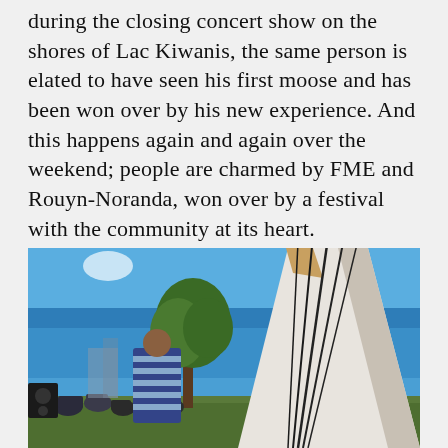during the closing concert show on the shores of Lac Kiwanis, the same person is elated to have seen his first moose and has been won over by his new experience. And this happens again and again over the weekend; people are charmed by FME and Rouyn-Noranda, won over by a festival with the community at its heart.
[Figure (photo): Outdoor daytime photo showing a large white teepee on the right side with wooden poles extending from the top against a clear blue sky. On the left, a tree and a group of people seated on grass watching something. A person in a colorful striped outfit stands in the foreground. Buildings are visible in the background.]